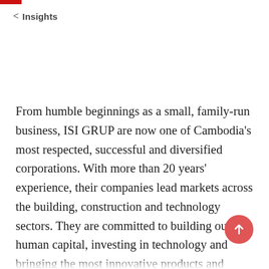< Insights
From humble beginnings as a small, family-run business, ISI GRUP are now one of Cambodia's most respected, successful and diversified corporations. With more than 20 years' experience, their companies lead markets across the building, construction and technology sectors. They are committed to building our human capital, investing in technology and bringing the most innovative products and services together for their customers.